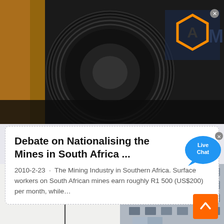[Figure (photo): Close-up photo of a black cable reel/spool with industrial machinery in background; orange and blue hexagonal logo (AM) visible in upper right corner]
Debate on Nationalising the Mines in South Africa ...
2010-2-23 · The Mining Industry in Southern Africa. Surface workers on South African mines earn roughly R1 500 (US$200) per month, while...
[Figure (photo): Partial view of a building exterior (grey facade with windows) and bare tree branches in the lower right portion of the page; orange scroll-to-top button overlay in bottom right corner]